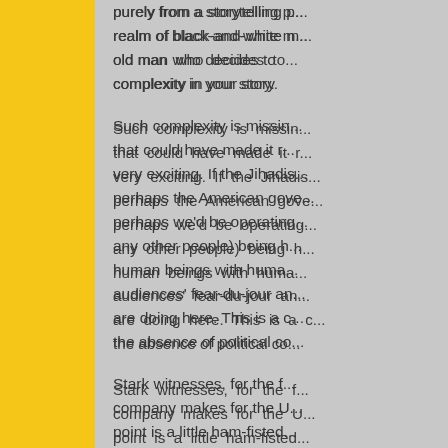purely from a storytelling perspective, into the realm of black-and-white morality. An old man who decides to... complexity in your story.

Such complexity is missing from a film that could have made it really very exciting. If the Jihadists, and perhaps the American government, and perhaps we'd be operating in a world where any other people) being human beings with human motives, audiences' fear-du-jour and... are doing here. This is a critique of the absence of political complexity.

Stark witnesses, for the first time, the company makes for the U.S. The point is a little ham-fistedly made: every weapon the bad guy... Industries logo, so we're... home.